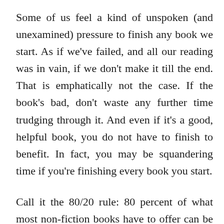Some of us feel a kind of unspoken (and unexamined) pressure to finish any book we start. As if we've failed, and all our reading was in vain, if we don't make it till the end. That is emphatically not the case. If the book's bad, don't waste any further time trudging through it. And even if it's a good, helpful book, you do not have to finish to benefit. In fact, you may be squandering time if you're finishing every book you start.
Call it the 80/20 rule: 80 percent of what most non-fiction books have to offer can be found in about 20 percent of their pages. So I feel no obligation to finish a book just because I started it. Without apology, I ransack books for as much as I